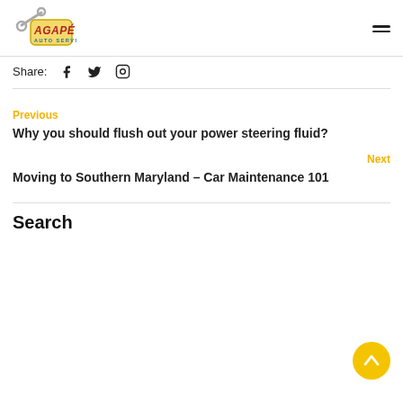Agapé Auto Service logo and navigation menu
Share:
Why you should flush out your power steering fluid?
Moving to Southern Maryland – Car Maintenance 101
Search